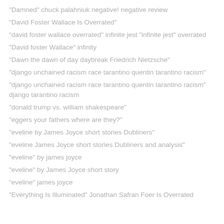"Damned" chuck palahniuk negative! negative review
"David Foster Wallace Is Overrated"
"david foster wallace overrated" infinite jest "infinite jest" overrated
"David foster Wallace" infinity
"Dawn the dawn of day daybreak Friedrich Nietzsche"
"django unchained racism race tarantino quentin tarantino racism"
"django unchained racism race tarantino quentin tarantino racism" django tarantino racism
"donald trump vs. william shakespeare"
"eggers your fathers where are they?"
"eveline by James Joyce short stories Dubliners"
"eveline James Joyce short stories Dubliners and analysis"
"eveline" by james joyce
"eveline" by James Joyce short story
"eveline" james joyce
"Everything Is Illuminated" Jonathan Safran Foer Is Overrated